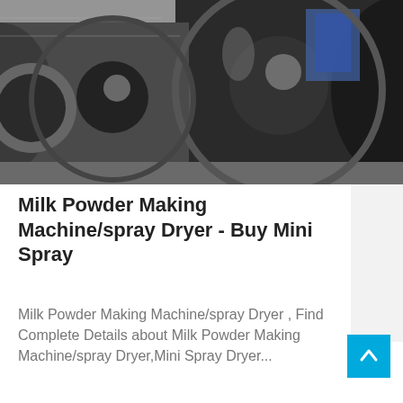[Figure (photo): Industrial factory interior with large cylindrical metal drum/tube components (spray dryer cylinders) arranged horizontally on a factory floor. The cylinders are large, steel/metallic, with visible interior through the circular openings. Background shows industrial equipment and machinery.]
Milk Powder Making Machine/spray Dryer - Buy Mini Spray
Milk Powder Making Machine/spray Dryer , Find Complete Details about Milk Powder Making Machine/spray Dryer,Mini Spray Dryer...